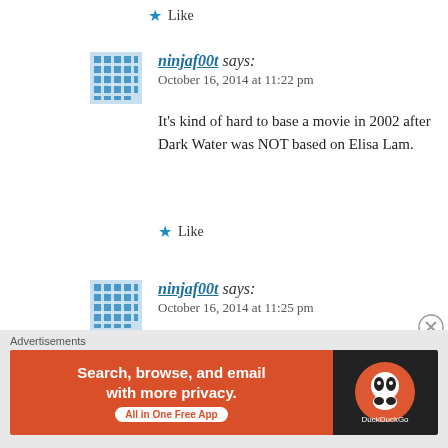Like
ninjaf00t says:
October 16, 2014 at 11:22 pm
It's kind of hard to base a movie in 2002 after Dark Water was NOT based on Elisa Lam.
Like
ninjaf00t says:
October 16, 2014 at 11:25 pm
The American version of Dark Water was in 2005, so it's kind of hard to base a movie on an event from 2013. Dark Water was NOT based on Elisa Lam
Advertisements
[Figure (infographic): DuckDuckGo advertisement banner: Search, browse, and email with more privacy. All in One Free App. Orange background on left with white text, dark background on right with DuckDuckGo logo.]